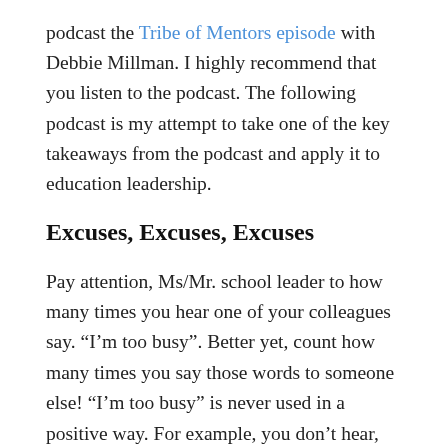podcast the Tribe of Mentors episode with Debbie Millman. I highly recommend that you listen to the podcast. The following podcast is my attempt to take one of the key takeaways from the podcast and apply it to education leadership.
Excuses, Excuses, Excuses
Pay attention, Ms/Mr. school leader to how many times you hear one of your colleagues say. “I’m too busy”. Better yet, count how many times you say those words to someone else! “I’m too busy” is never used in a positive way. For example, you don’t hear, “I’m too busy so I can do that